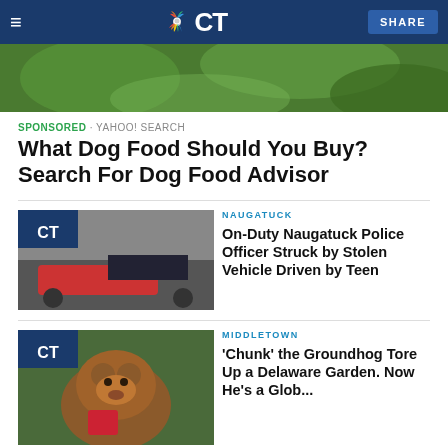NBC CT
[Figure (photo): Top image strip showing green foliage/plants]
SPONSORED · YAHOO! SEARCH
What Dog Food Should You Buy? Search For Dog Food Advisor
[Figure (photo): Red tow truck on road with police car being towed, NBC CT logo overlay]
NAUGATUCK
On-Duty Naugatuck Police Officer Struck by Stolen Vehicle Driven by Teen
[Figure (photo): Groundhog holding a red item, NBC CT logo overlay]
MIDDLETOWN
'Chunk' the Groundhog Tore Up a Delaware Garden. Now He's a Glob...